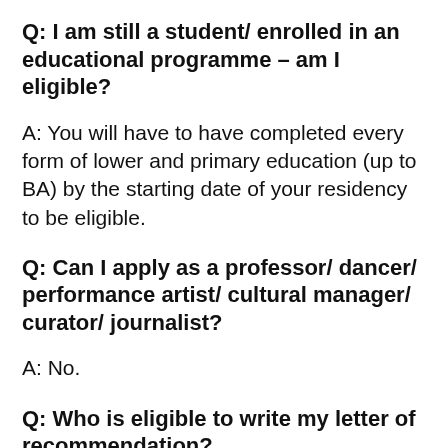Q: I am still a student/ enrolled in an educational programme – am I eligible?
A: You will have to have completed every form of lower and primary education (up to BA) by the starting date of your residency to be eligible.
Q: Can I apply as a professor/ dancer/ performance artist/ cultural manager/ curator/ journalist?
A: No.
Q: Who is eligible to write my letter of recommendation?